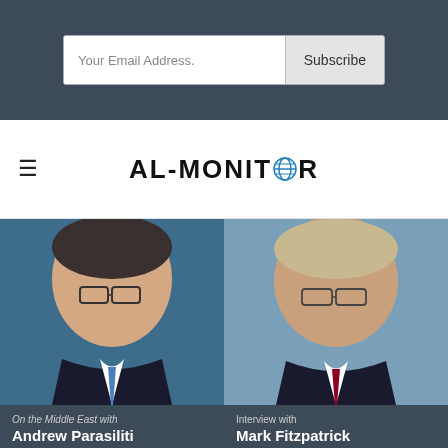Your Email Address. Subscribe
AL-MONITOR
[Figure (photo): Two men in business suits with glasses, photographed against a blue background. Left man is dark-haired, right man is blonde/grey-haired.]
On the Middle East with Andrew Parasiliti | Interview with Mark Fitzpatrick